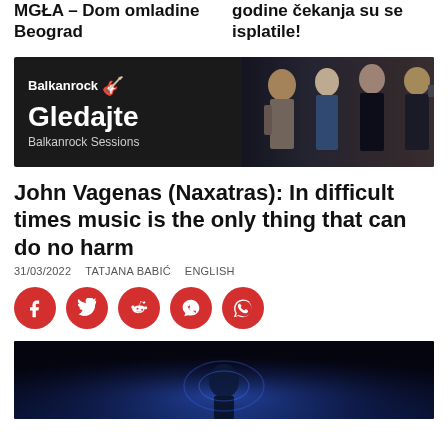MGŁA – Dom omladine Beograd
godine čekanja su se isplatile!
[Figure (photo): Balkanrock Sessions advertisement banner with dark background showing band members/musicians on the right side. Left side shows Balkanrock logo and text 'Gledajte Balkanrock Sessions']
John Vagenas (Naxatras): In difficult times music is the only thing that can do no harm
31/03/2022  TATJANA BABIĆ  ENGLISH
[Figure (other): Social share buttons: Facebook, Twitter, Reddit, Viber, WhatsApp — red circular buttons with white icons]
[Figure (photo): Dark blue-lit concert photo of a performer on stage]